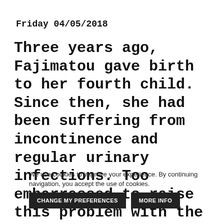Friday 04/05/2018
Three years ago, Fajimatou gave birth to her fourth child. Since then, she had been suffering from incontinence and regular urinary infections. Too embarrassed to raise this problem with the staff at
We use cookies to improve your experience. By continuing navigation, you accept the use of cookies.
CHANGE MY PREFERENCES   MORE INFO   OK